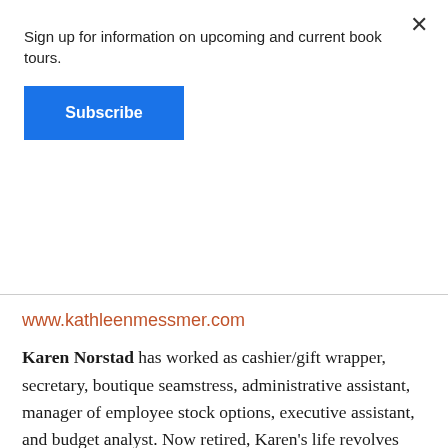Sign up for information on upcoming and current book tours.
Subscribe
www.kathleenmessmer.com
Karen Norstad has worked as cashier/gift wrapper, secretary, boutique seamstress, administrative assistant, manager of employee stock options, executive assistant, and budget analyst. Now retired, Karen's life revolves around lounging about, wearing PJs until four in the afternoon, obsessing over the news, reading, fusing and slumping